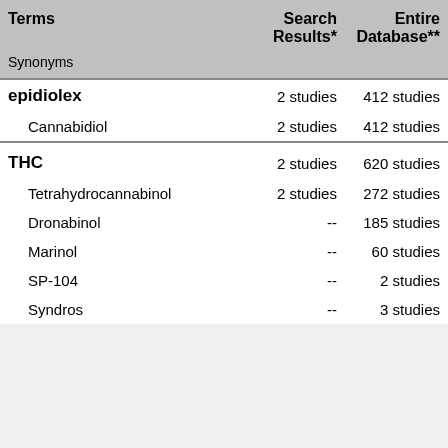| Terms
Synonyms | Search Results* | Entire Database** |
| --- | --- | --- |
| epidiolex | 2 studies | 412 studies |
| Cannabidiol | 2 studies | 412 studies |
| THC | 2 studies | 620 studies |
| Tetrahydrocannabinol | 2 studies | 272 studies |
| Dronabinol | -- | 185 studies |
| Marinol | -- | 60 studies |
| SP-104 | -- | 2 studies |
| Syndros | -- | 3 studies |